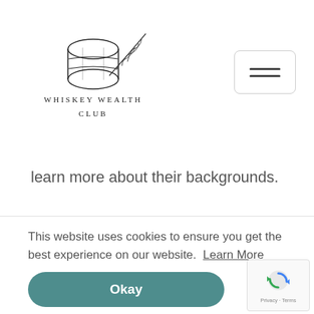[Figure (logo): Whiskey & Wealth Club logo with barrel and wheat illustration above the text 'WHISKEY WEALTH CLUB']
learn more about their backgrounds.
Over 300 of our clients have left 4- and 5-star reviews for the Whiskey & Wealth Club on TrustPilot – read a selection of them below.
This website uses cookies to ensure you get the best experience on our website. Learn More